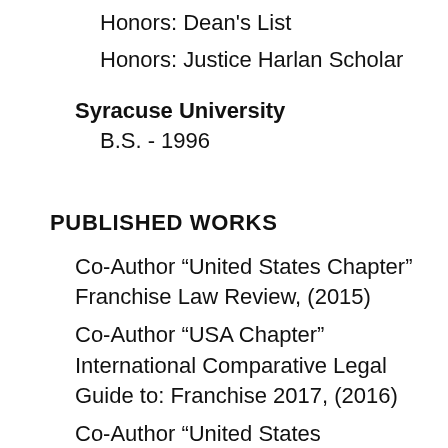Honors: Dean's List
Honors: Justice Harlan Scholar
Syracuse University
B.S. - 1996
PUBLISHED WORKS
Co-Author “United States Chapter” Franchise Law Review, (2015)
Co-Author “USA Chapter” International Comparative Legal Guide to: Franchise 2017, (2016)
Co-Author “United States Chapter”, Franchise Law Review, (2016)